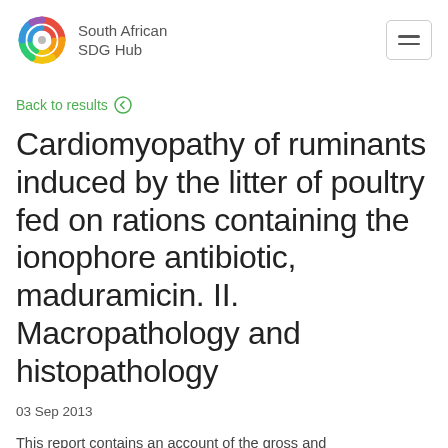South African SDG Hub
Back to results
Cardiomyopathy of ruminants induced by the litter of poultry fed on rations containing the ionophore antibiotic, maduramicin. II. Macropathology and histopathology
03 Sep 2013
This report contains an account of the gross and